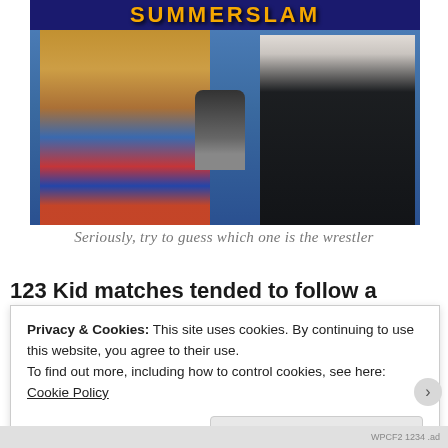[Figure (photo): A professional wrestling photo showing a wrestler in colorful WWE attire being interviewed by a man in a black tuxedo holding a microphone, in front of a WWE/SummerSlam style backdrop with orange lettering on blue background]
Seriously, try to guess which one is the wrestler
123 Kid matches tended to follow a pretty standard
Privacy & Cookies: This site uses cookies. By continuing to use this website, you agree to their use.
To find out more, including how to control cookies, see here: Cookie Policy
Close and accept